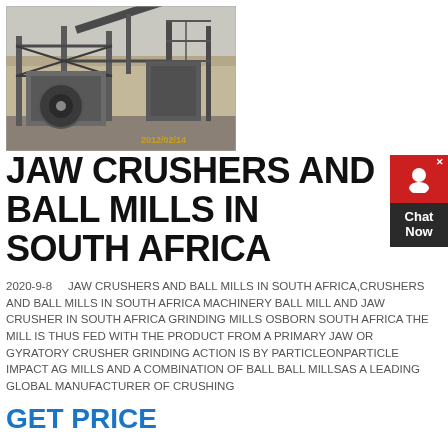[Figure (photo): Industrial jaw crusher / ball mill machinery at a quarry or mining site, dated 2012/02/14]
JAW CRUSHERS AND BALL MILLS IN SOUTH AFRICA
2020-9-8    JAW CRUSHERS AND BALL MILLS IN SOUTH AFRICA,CRUSHERS AND BALL MILLS IN SOUTH AFRICA MACHINERY BALL MILL AND JAW CRUSHER IN SOUTH AFRICA GRINDING MILLS OSBORN SOUTH AFRICA THE MILL IS THUS FED WITH THE PRODUCT FROM A PRIMARY JAW OR GYRATORY CRUSHER GRINDING ACTION IS BY PARTICLEONPARTICLE IMPACT AG MILLS AND A COMBINATION OF BALL BALL MILLSAS A LEADING GLOBAL MANUFACTURER OF CRUSHING
GET PRICE